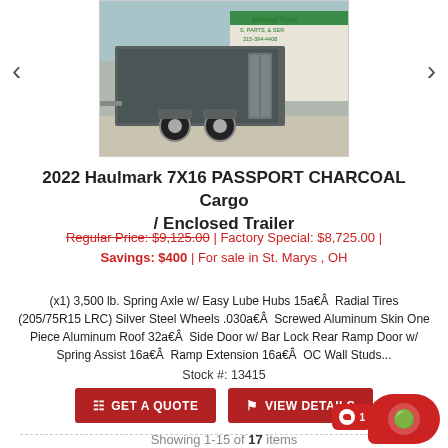[Figure (photo): Photo of a 2022 Haulmark 7X16 PASSPORT CHARCOAL cargo/enclosed trailer parked in front of Midway Trailer building]
2022 Haulmark 7X16 PASSPORT CHARCOAL Cargo / Enclosed Trailer
Regular Price: $9,125.00 | Factory Special: $8,725.00 | Savings: $400 | For sale in St. Marys, OH
(x1) 3,500 lb. Spring Axle w/ Easy Lube Hubs 15a€Â  Radial Tires (205/75R15 LRC) Silver Steel Wheels .030a€Â  Screwed Aluminum Skin One Piece Aluminum Roof 32a€Â  Side Door w/ Bar Lock Rear Ramp Door w/ Spring Assist 16a€Â  Ramp Extension 16a€Â  OC Wall Studs...
Stock #: 13415
Showing 1-15 of 17 items